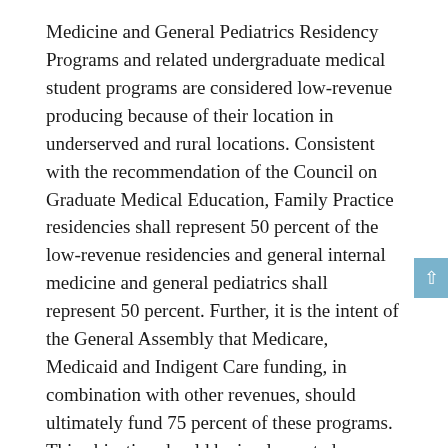Medicine and General Pediatrics Residency Programs and related undergraduate medical student programs are considered low-revenue producing because of their location in underserved and rural locations. Consistent with the recommendation of the Council on Graduate Medical Education, Family Practice residencies shall represent 50 percent of the low-revenue residencies and general internal medicine and general pediatrics shall represent 50 percent. Further, it is the intent of the General Assembly that Medicare, Medicaid and Indigent Care funding, in combination with other revenues, should ultimately fund 75 percent of these programs. This objective should be implemented over a six-year period. This appropriation for Family Practice Programs, whether ultimately implemented by contract, agreement or other means, is considered to be a grant.
2. The University shall report by July 1 annually to